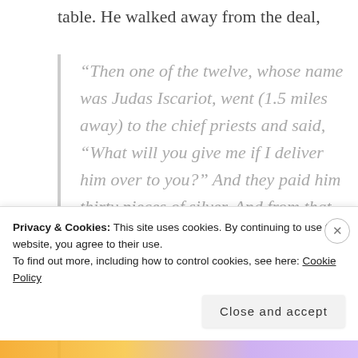table. He walked away from the deal,
“Then one of the twelve, whose name was Judas Iscariot, went (1.5 miles away) to the chief priests and said, “What will you give me if I deliver him over to you?” And they paid him thirty pieces of silver. And from that moment
Privacy & Cookies: This site uses cookies. By continuing to use this website, you agree to their use.
To find out more, including how to control cookies, see here: Cookie Policy
Close and accept